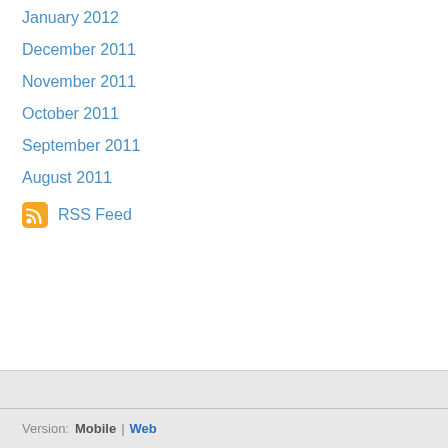January 2012
December 2011
November 2011
October 2011
September 2011
August 2011
RSS Feed
Version:  Mobile  |  Web